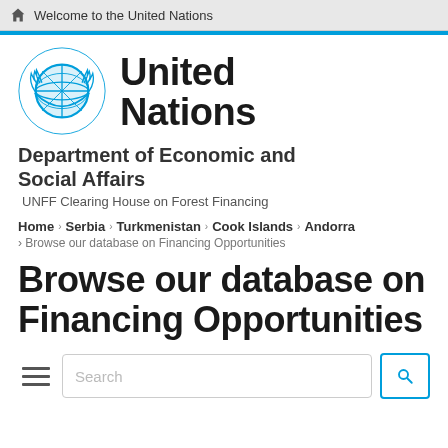Welcome to the United Nations
[Figure (logo): United Nations emblem logo in blue]
United Nations
Department of Economic and Social Affairs
UNFF Clearing House on Forest Financing
Home › Serbia › Turkmenistan › Cook Islands › Andorra › Browse our database on Financing Opportunities
Browse our database on Financing Opportunities